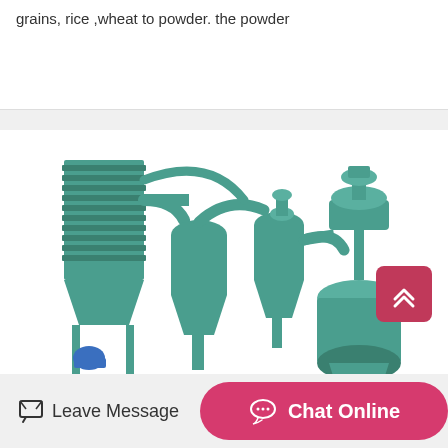grains, rice ,wheat to powder. the powder
[Figure (photo): Industrial powder milling machine system in teal/green color, consisting of a large rectangular dust collector with horizontal fins on the left, connected via pipes to cyclone separators in the center, and a grinding mill unit with a blue electric motor on the right, all mounted on metal frames]
Leave Message
Chat Online